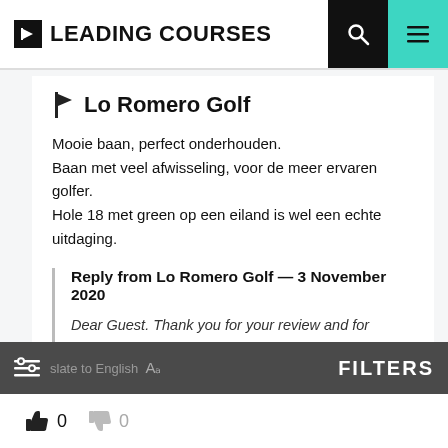LEADING COURSES
Lo Romero Golf
Mooie baan, perfect onderhouden.
Baan met veel afwisseling, voor de meer ervaren golfer.
Hole 18 met green op een eiland is wel een echte uitdaging.
Reply from Lo Romero Golf — 3 November 2020
Dear Guest. Thank you for your review and for choosing our Golf Course. We are happy that you enjoyed your game and we are looking forward to having you again as a guest in Lo Romero Golf Course. Kind Regards. Caddie Master
FILTERS
0  0